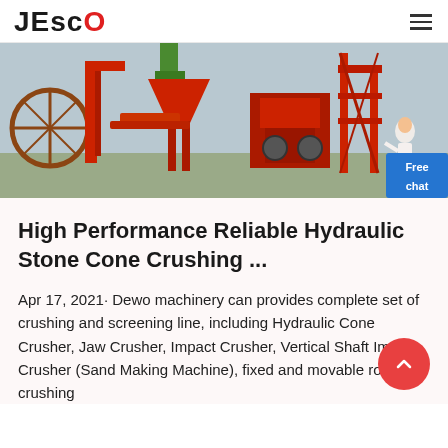JESCO
[Figure (photo): Industrial stone crushing machinery — large red metal structures with conveyor belts, cranes, and a person in a lab coat in the lower right corner]
High Performance Reliable Hydraulic Stone Cone Crushing ...
Apr 17, 2021· Dewo machinery can provides complete set of crushing and screening line, including Hydraulic Cone Crusher, Jaw Crusher, Impact Crusher, Vertical Shaft Impact Crusher (Sand Making Machine), fixed and movable rock crushing